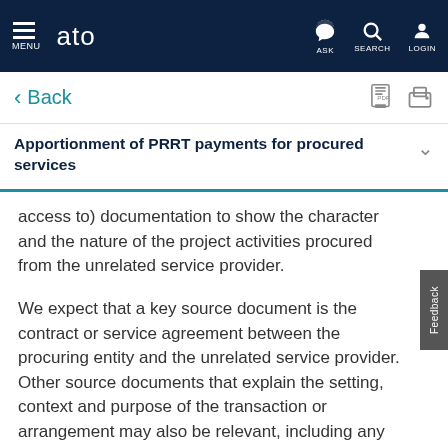MENU  ato  ASK  SEARCH  LOGIN
< Back
Apportionment of PRRT payments for procured services
access to) documentation to show the character and the nature of the project activities procured from the unrelated service provider.
We expect that a key source document is the contract or service agreement between the procuring entity and the unrelated service provider. Other source documents that explain the setting, context and purpose of the transaction or arrangement may also be relevant, including any tender discussions, ongoing reviews of the provision of project activities, and reports